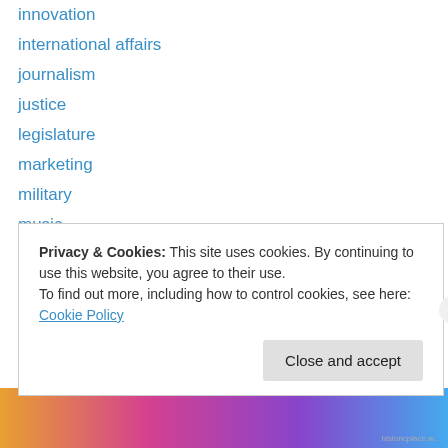innovation
international affairs
journalism
justice
legislature
marketing
military
music
Ottawa
philanthropy
photography
politics
recreation
religion
Privacy & Cookies: This site uses cookies. By continuing to use this website, you agree to their use.
To find out more, including how to control cookies, see here: Cookie Policy
Close and accept